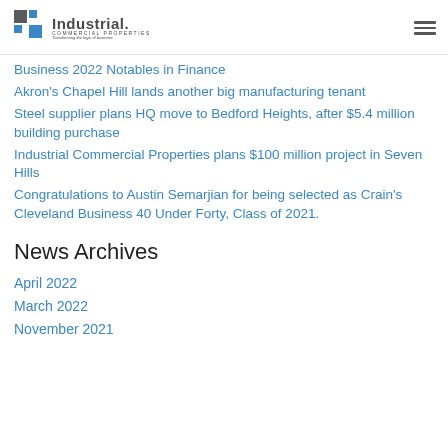Industrial Commercial Properties
Business 2022 Notables in Finance
Akron's Chapel Hill lands another big manufacturing tenant
Steel supplier plans HQ move to Bedford Heights, after $5.4 million building purchase
Industrial Commercial Properties plans $100 million project in Seven Hills
Congratulations to Austin Semarjian for being selected as Crain's Cleveland Business 40 Under Forty, Class of 2021.
News Archives
April 2022
March 2022
November 2021